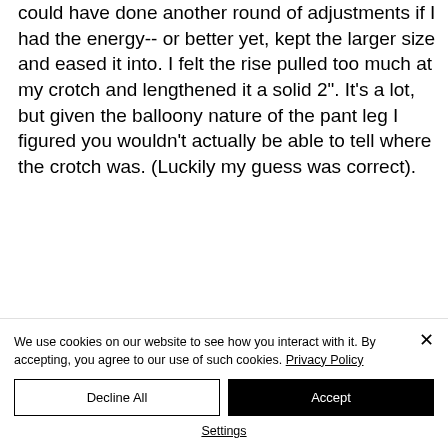could have done another round of adjustments if I had the energy-- or better yet, kept the larger size and eased it into. I felt the rise pulled too much at my crotch and lengthened it a solid 2". It's a lot, but given the balloony nature of the pant leg I figured you wouldn't actually be able to tell where the crotch was. (Luckily my guess was correct).
We use cookies on our website to see how you interact with it. By accepting, you agree to our use of such cookies. Privacy Policy